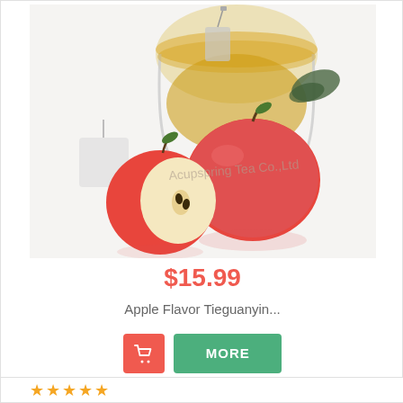[Figure (photo): Apple flavor Tieguanyin tea product photo showing a glass cup of golden tea with a tea bag, two red apples (one whole, one halved), dried tea leaves, and a watermark reading 'Acupspring Tea Co.,Ltd']
$15.99
Apple Flavor Tieguanyin...
[Figure (other): Two buttons: a red shopping cart button and a green MORE button]
[Figure (other): Green 'In Stock' button]
[Figure (other): Orange/coral star rating icons (5 stars, partially visible at bottom)]